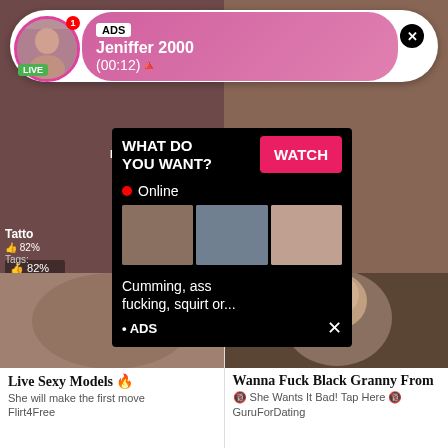[Figure (screenshot): Live notification bar with avatar, ADS label, name Jeniffer 2000, timer (00:12), pink gradient background, close X button]
[Figure (screenshot): Video thumbnail grid showing adult content with 82% like rating and Burning-Ang watermark]
[Figure (screenshot): Ad popup overlay on black background: WHAT DO YOU WANT? with WATCH button, Online indicator, three thumbnail images, text about adult content, ADS label]
[Figure (photo): Adult content thumbnail on left side of bottom card]
Live Sexy Models 🔥
She will make the first move
Flirt4Free
[Figure (photo): Adult content thumbnail on right side of bottom card showing a person]
Wanna Fuck Black Granny From
🔞 She Wants It Bad! Tap Here 🔞
GuruForDating